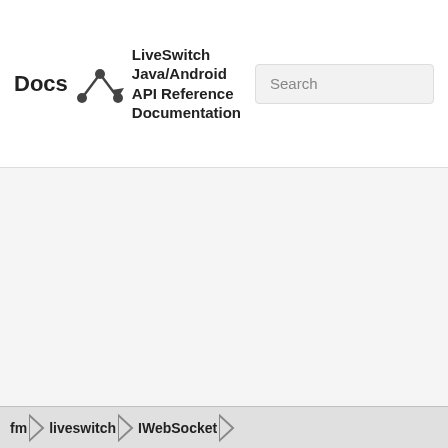Docs LiveSwitch Java/Android API Reference Documentation
Public Member Fun | List of all members
fm.liveswitch. Interface Reference
Contract for an implementation of the WebSocket protocol v8. More...
Public Member F
fm > liveswitch > IWebSocket